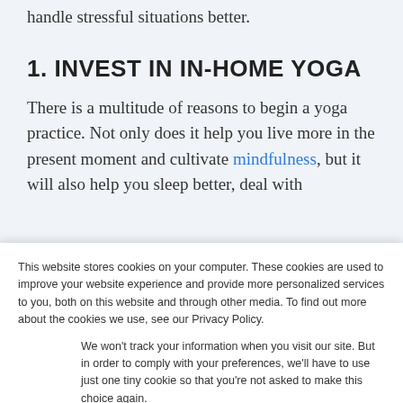handle stressful situations better.
1. INVEST IN IN-HOME YOGA
There is a multitude of reasons to begin a yoga practice. Not only does it help you live more in the present moment and cultivate mindfulness, but it will also help you sleep better, deal with
This website stores cookies on your computer. These cookies are used to improve your website experience and provide more personalized services to you, both on this website and through other media. To find out more about the cookies we use, see our Privacy Policy.
We won't track your information when you visit our site. But in order to comply with your preferences, we'll have to use just one tiny cookie so that you're not asked to make this choice again.